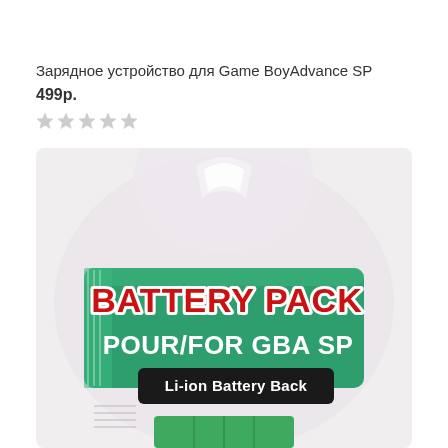Зарядное устройство для Game BoyAdvance SP
499р.
[Figure (photo): Product photo of a Battery Pack for GBA SP in blister packaging. Green label reads 'BATTERY PACK' in red text and 'POUR/FOR GBA SP' in white text. Below is a black badge reading 'Li-ion Battery Back'. The packaging is clear plastic blister with a hanging hole at the top.]